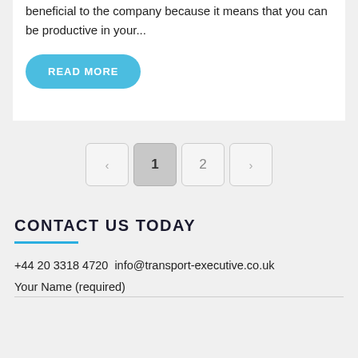beneficial to the company because it means that you can be productive in your...
READ MORE
< 1 2 >
CONTACT US TODAY
+44 20 3318 4720 info@transport-executive.co.uk
Your Name (required)